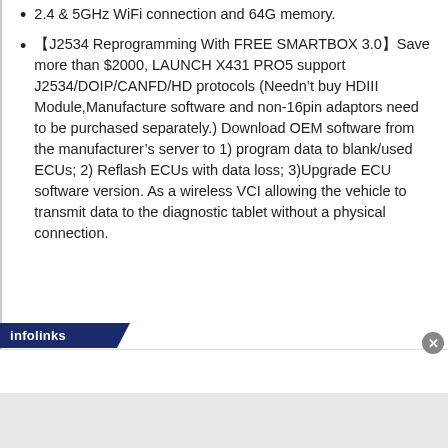2.4 & 5GHz WiFi connection and 64G memory.
【J2534 Reprogramming With FREE SMARTBOX 3.0】Save more than $2000, LAUNCH X431 PRO5 support J2534/DOIP/CANFD/HD protocols (Needn't buy HDIII Module,Manufacture software and non-16pin adaptors need to be purchased separately.) Download OEM software from the manufacturer's server to 1) program data to blank/used ECUs; 2) Reflash ECUs with data loss; 3)Upgrade ECU software version. As a wireless VCI allowing the vehicle to transmit data to the diagnostic tablet without a physical connection.